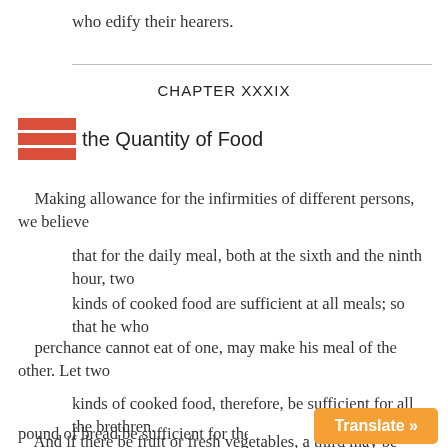who edify their hearers.
CHAPTER XXXIX
the Quantity of Food
Making allowance for the infirmities of different persons, we believe
that for the daily meal, both at the sixth and the ninth hour, two
kinds of cooked food are sufficient at all meals; so that he who
perchance cannot eat of one, may make his meal of the other. Let two
kinds of cooked food, therefore, be sufficient for all the brethren.
And if there be fruit or fresh vegetables, a third may be added. Let a
pound of bread be sufficient for the day, whe